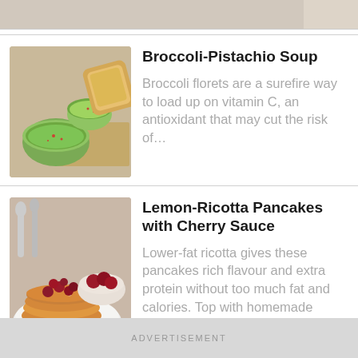[Figure (photo): Partial view of a food photo at top of page, cropped]
[Figure (photo): Bowl of green broccoli-pistachio soup with bread on a wooden table]
Broccoli-Pistachio Soup
Broccoli florets are a surefire way to load up on vitamin C, an antioxidant that may cut the risk of...
[Figure (photo): Lemon-ricotta pancakes topped with cherry sauce on a plate with spoons in background]
Lemon-Ricotta Pancakes with Cherry Sauce
Lower-fat ricotta gives these pancakes rich flavour and extra protein without too much fat and calories. Top with homemade cherry...
ADVERTISEMENT